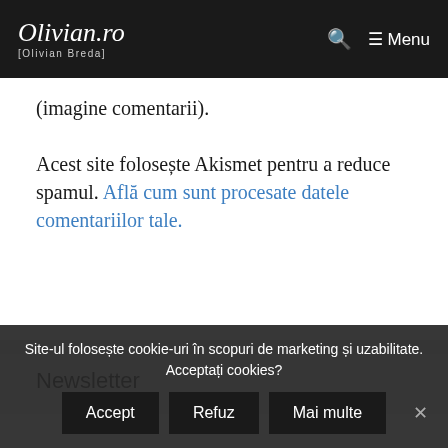Olivian.ro [Olivian Breda]
(imagine comentarii). Acest site folosește Akismet pentru a reduce spamul. Află cum sunt procesate datele comentariilor tale.
Newsletter
Site-ul folosește cookie-uri în scopuri de marketing și uzabilitate. Acceptați cookies?